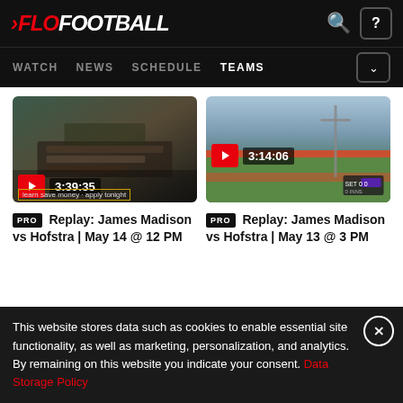[Figure (screenshot): FloFootball website header with logo, search icon, and help icon on black background]
[Figure (screenshot): Navigation bar with WATCH, NEWS, SCHEDULE, TEAMS links and dropdown button]
[Figure (photo): Video thumbnail showing hands on laptop keyboard with play button and timestamp 3:39:35]
PRO Replay: James Madison vs Hofstra | May 14 @ 12 PM
[Figure (photo): Video thumbnail showing outdoor baseball/football field with play button and timestamp 3:14:06]
PRO Replay: James Madison vs Hofstra | May 13 @ 3 PM
This website stores data such as cookies to enable essential site functionality, as well as marketing, personalization, and analytics. By remaining on this website you indicate your consent. Data Storage Policy